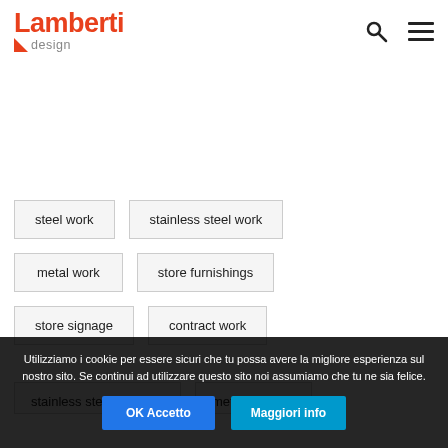[Figure (logo): Lamberti design logo with red text and orange triangle accent]
steel work
stainless steel work
metal work
store furnishings
store signage
contract work
stainless steel furniture
metal furniture
Utilizziamo i cookie per essere sicuri che tu possa avere la migliore esperienza sul nostro sito. Se continui ad utilizzare questo sito noi assumiamo che tu ne sia felice.
OK Accetto
Maggiori info